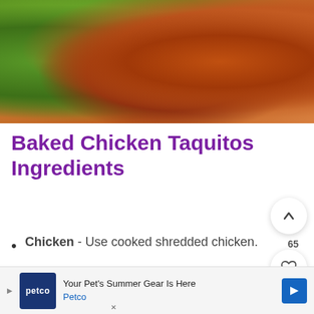[Figure (photo): Photo of baked chicken taquitos with cream drizzle and green herbs on a plate]
Baked Chicken Taquitos Ingredients
Chicken - Use cooked shredded chicken.
[Figure (other): Advertisement: Petco - Your Pet's Summer Gear Is Here]